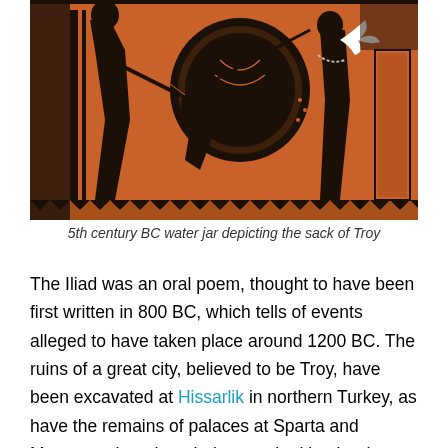[Figure (photo): A 5th century BC ancient Greek black-figure water jar (hydria) depicting the sack of Troy. The pottery has an orange/terracotta background with black figures of warriors and figures in battle scenes, with detailed decorative elements.]
5th century BC water jar depicting the sack of Troy
The Iliad was an oral poem, thought to have been first written in 800 BC, which tells of events alleged to have taken place around 1200 BC. The ruins of a great city, believed to be Troy, have been excavated at Hissarlik in northern Turkey, as have the remains of palaces at Sparta and Mycenae, thought to belong to the king brothers Menelaus and Agamemnon.